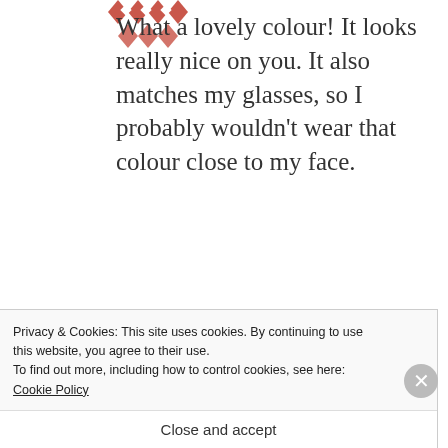[Figure (logo): Red geometric quilt-pattern avatar (partial, top of page)]
What a lovely colour! It looks really nice on you. It also matches my glasses, so I probably wouldn't wear that colour close to my face.
[Figure (logo): Teal/dark-cyan geometric quilt-pattern avatar for Jean]
Jean
JULY 13, 2010 AT 23:16
Privacy & Cookies: This site uses cookies. By continuing to use this website, you agree to their use.
To find out more, including how to control cookies, see here: Cookie Policy
Close and accept